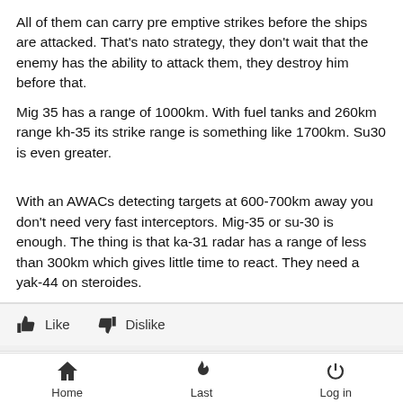All of them can carry pre emptive strikes before the ships are attacked. That's nato strategy, they don't wait that the enemy has the ability to attack them, they destroy him before that.
Mig 35 has a range of 1000km. With fuel tanks and 260km range kh-35 its strike range is something like 1700km. Su30 is even greater.
With an AWACs detecting targets at 600-700km away you don't need very fast interceptors. Mig-35 or su-30 is enough. The thing is that ka-31 radar has a range of less than 300km which gives little time to react. They need a yak-44 on steroides.
Like  Dislike
Wed Jul 03, 2019 12:37 pm
by Jnno
Home  Last  Log in